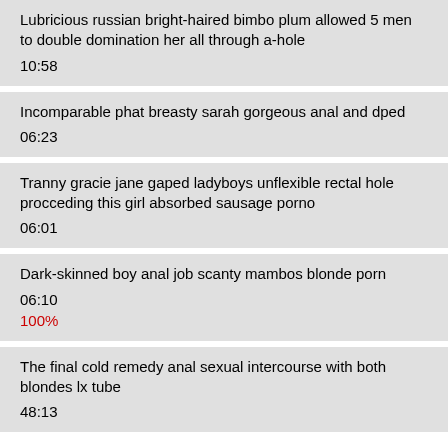Lubricious russian bright-haired bimbo plum allowed 5 men to double domination her all through a-hole
10:58
Incomparable phat breasty sarah gorgeous anal and dped
06:23
Tranny gracie jane gaped ladyboys unflexible rectal hole procceding this girl absorbed sausage porno
06:01
Dark-skinned boy anal job scanty mambos blonde porn
06:10
100%
The final cold remedy anal sexual intercourse with both blondes lx tube
48:13